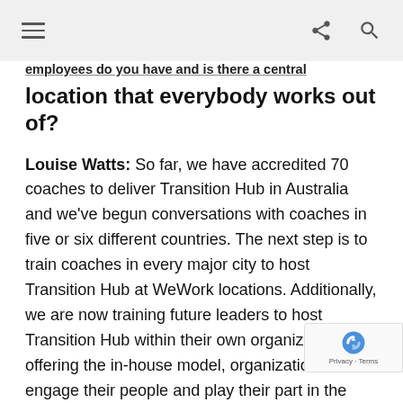[hamburger menu] [share icon] [search icon]
employees do you have and is there a central location that everybody works out of?
Louise Watts: So far, we have accredited 70 coaches to deliver Transition Hub in Australia and we've begun conversations with coaches in five or six different countries. The next step is to train coaches in every major city to host Transition Hub at WeWork locations. Additionally, we are now training future leaders to host Transition Hub within their own organizations. By offering the in-house model, organizations can engage their people and play their part in the global upskilling plan. Organizations like Degreed are bringing fantastic skills to organizations and we are developing the human advocacy req... to provide and to make those skills...